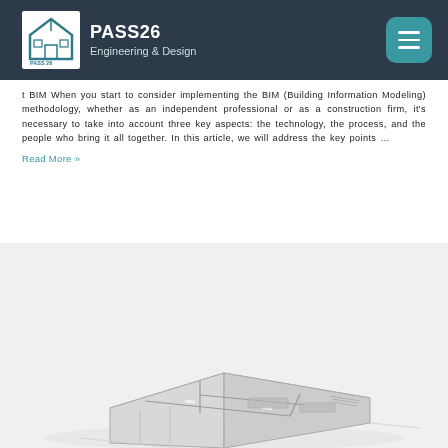PASS26 Engineering & Design
t BIM When you start to consider implementing the BIM (Building Information Modeling) methodology, whether as an independent professional or as a construction firm, it's necessary to take into account three key aspects: the technology, the process, and the people who bring it all together. In this article, we will address the key points …
Read More »
[Figure (engineering-diagram): 3D axonometric/isometric architectural BIM model showing a building floor plan with walls, rooms, and structural elements rendered in light gray with white fill, viewed from above at an angle.]